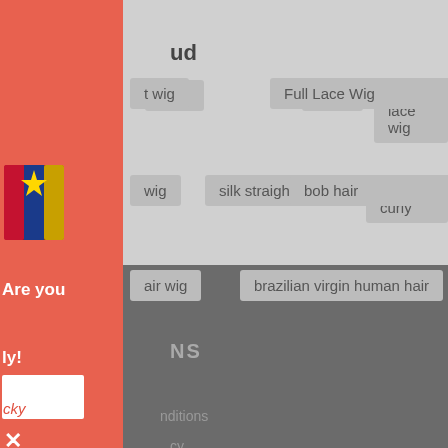[Figure (screenshot): Website screenshot showing a tag cloud section with hair wig related tags on a gray background, overlaid by a coral/salmon colored popup panel on the left side. The popup contains 'Are you' text, an input box, and a close button. The bottom portion shows a dark gray footer area with partially visible text including 'NS', 'nditions', and 'cy'.]
ud
t wig
lwigs
360 lace wig
Full Lace Wig
wig
silk straight
kinky curly
bob hair
air wig
brazilian virgin human hair
NS
nditions
cy
Are you
ly!
cky
×